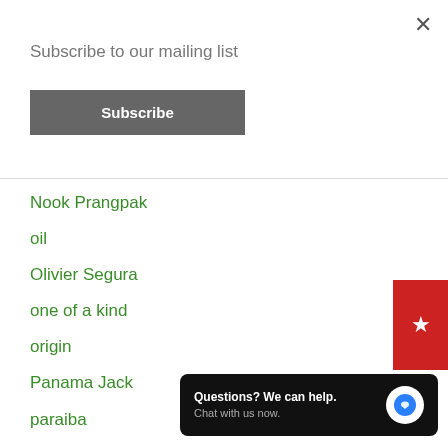×
Subscribe to our mailing list
Subscribe
Nook Prangpak
oil
Olivier Segura
one of a kind
origin
Panama Jack
paraiba
Paula Crevoshay
pearl
Photography
photomicrography
Questions? We can help. Chat with us now.